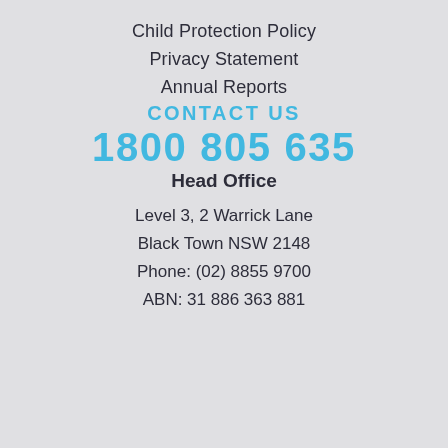Child Protection Policy
Privacy Statement
Annual Reports
CONTACT US
1800 805 635
Head Office
Level 3, 2 Warrick Lane
Black Town NSW 2148
Phone: (02) 8855 9700
ABN: 31 886 363 881